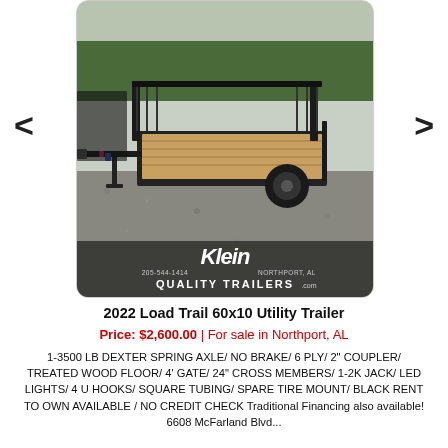[Figure (photo): Photo of a 2022 Load Trail 60x10 Utility Trailer parked on gravel, showing black steel frame with wood floor and mesh sides. Klein Quality Trailers logo with phone 205-544-1414 and location Northport, AL visible at bottom of image. Navigation arrows on left and right sides.]
2022 Load Trail 60x10 Utility Trailer
Price: $2,600.00 | For sale in Northport, AL
1-3500 LB DEXTER SPRING AXLE/ NO BRAKE/ 6 PLY/ 2" COUPLER/ TREATED WOOD FLOOR/ 4' GATE/ 24" CROSS MEMBERS/ 1-2K JACK/ LED LIGHTS/ 4 U HOOKS/ SQUARE TUBING/ SPARE TIRE MOUNT/ BLACK RENT TO OWN AVAILABLE / NO CREDIT CHECK Traditional Financing also available! 6608 McFarland Blvd...